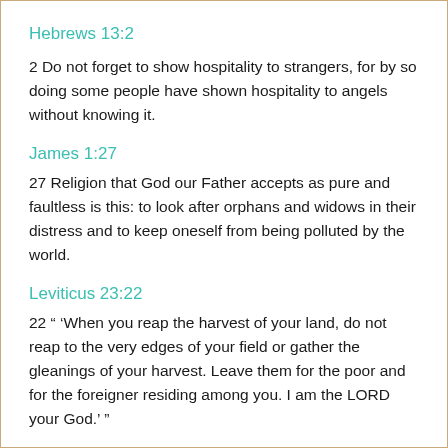Hebrews 13:2
2 Do not forget to show hospitality to strangers, for by so doing some people have shown hospitality to angels without knowing it.
James 1:27
27 Religion that God our Father accepts as pure and faultless is this: to look after orphans and widows in their distress and to keep oneself from being polluted by the world.
Leviticus 23:22
22 “ ‘When you reap the harvest of your land, do not reap to the very edges of your field or gather the gleanings of your harvest. Leave them for the poor and for the foreigner residing among you. I am the LORD your God.’ ”
Leviticus 24:22